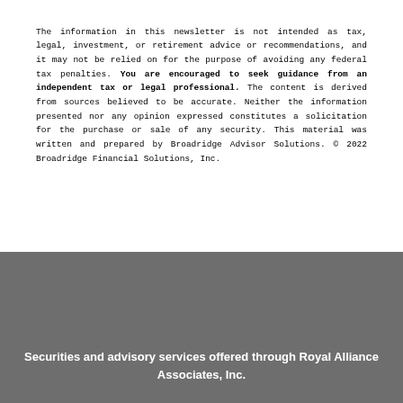The information in this newsletter is not intended as tax, legal, investment, or retirement advice or recommendations, and it may not be relied on for the purpose of avoiding any federal tax penalties. You are encouraged to seek guidance from an independent tax or legal professional. The content is derived from sources believed to be accurate. Neither the information presented nor any opinion expressed constitutes a solicitation for the purchase or sale of any security. This material was written and prepared by Broadridge Advisor Solutions. © 2022 Broadridge Financial Solutions, Inc.
Securities and advisory services offered through Royal Alliance Associates, Inc.